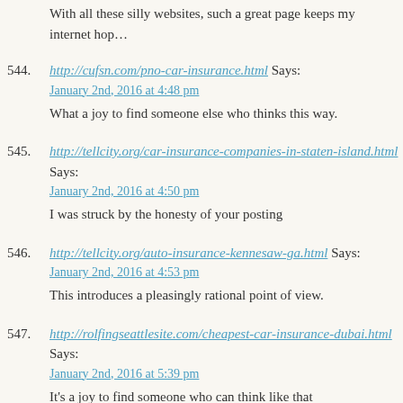With all these silly websites, such a great page keeps my internet hop…
544. http://cufsn.com/pno-car-insurance.html Says:
January 2nd, 2016 at 4:48 pm
What a joy to find someone else who thinks this way.
545. http://tellcity.org/car-insurance-companies-in-staten-island.html Says:
January 2nd, 2016 at 4:50 pm
I was struck by the honesty of your posting
546. http://tellcity.org/auto-insurance-kennesaw-ga.html Says:
January 2nd, 2016 at 4:53 pm
This introduces a pleasingly rational point of view.
547. http://rolfingseattlesite.com/cheapest-car-insurance-dubai.html Says:
January 2nd, 2016 at 5:39 pm
It's a joy to find someone who can think like that